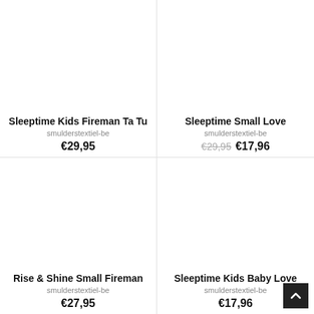Sleeptime Kids Fireman Ta Tu
smulderstextiel-be
€29,95
Sleeptime Small Love
smulderstextiel-be
€29,95  €17,96
Rise & Shine Small Fireman
smulderstextiel-be
€27,95
Sleeptime Kids Baby Love
smulderstextiel-be
€17,96